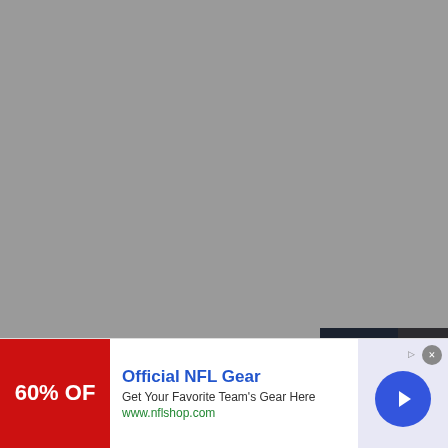[Figure (screenshot): Gray background area taking up the upper portion of the page, representing a webpage background]
Rachael Ray Is Obse
bagnetcompany.com
[Figure (screenshot): A dark video player overlay with blue triangular forward/play icons and a muted speaker icon, showing a person in a kitchen scene]
[Figure (photo): Photo of a wooden fence/lattice]
[Figure (screenshot): Advertisement banner: Official NFL Gear - Get Your Favorite Team's Gear Here - www.nflshop.com, with red 60% OFF graphic on left and blue arrow button on right. A close button (x) is visible in upper right.]